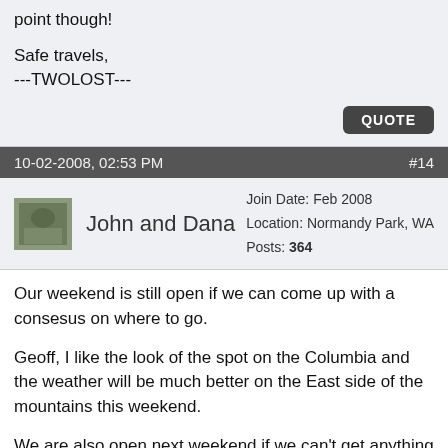point though!

Safe travels,
---TWOLOST---
QUOTE
10-02-2008, 02:53 PM
#14
John and Dana
Join Date: Feb 2008
Location: Normandy Park, WA
Posts: 364
Our weekend is still open if we can come up with a consesus on where to go.
Geoff, I like the look of the spot on the Columbia and the weather will be much better on the East side of the mountains this weekend.
We are also open next weekend if we can't get anything going for this weekend.
Two Lost, Sorry to hear about you septic problems. Our neighbor had his drain field replaced last year and was very happy with the